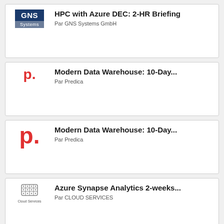[Figure (logo): GNS Systems GmbH logo with dark blue GNS text on top and grey Systems bar below]
HPC with Azure DEC: 2-HR Briefing
Par GNS Systems GmbH
[Figure (logo): Predica logo: red lowercase p with red dot]
Modern Data Warehouse: 10-Day...
Par Predica
[Figure (logo): Predica logo: large red lowercase p with red dot]
Modern Data Warehouse: 10-Day...
Par Predica
[Figure (logo): Cloud Services logo with building/grid icon and Cloud Services label]
Azure Synapse Analytics 2-weeks...
Par CLOUD SERVICES